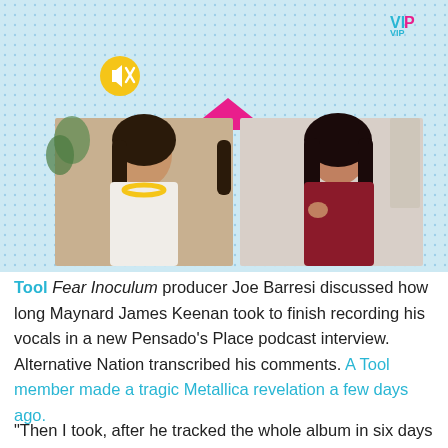[Figure (screenshot): Video interview screenshot showing two women on a video call. Left frame: woman with dark hair and yellow necklace wearing white. Right frame: woman with dark hair speaking/gesturing wearing dark red. Light blue dotted background with pink triangle decoration and VIP logo in top right. Mute button (yellow circle with speaker icon) in top left area.]
Tool Fear Inoculum producer Joe Barresi discussed how long Maynard James Keenan took to finish recording his vocals in a new Pensado's Place podcast interview. Alternative Nation transcribed his comments. A Tool member made a tragic Metallica revelation a few days ago.
"Then I took, after he tracked the whole album in six days actually, his vocal parts, then I came back to my studio, and I